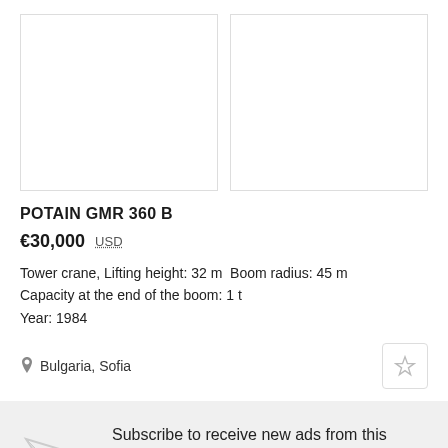[Figure (photo): Two empty/blank image placeholders side by side]
POTAIN GMR 360 B
€30,000  USD
Tower crane, Lifting height: 32 m  Boom radius: 45 m
Capacity at the end of the boom: 1 t
Year: 1984
Bulgaria, Sofia
Subscribe to receive new ads from this section